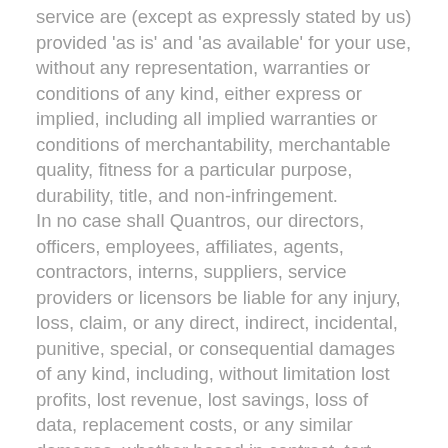service are (except as expressly stated by us) provided 'as is' and 'as available' for your use, without any representation, warranties or conditions of any kind, either express or implied, including all implied warranties or conditions of merchantability, merchantable quality, fitness for a particular purpose, durability, title, and non-infringement. In no case shall Quantros, our directors, officers, employees, affiliates, agents, contractors, interns, suppliers, service providers or licensors be liable for any injury, loss, claim, or any direct, indirect, incidental, punitive, special, or consequential damages of any kind, including, without limitation lost profits, lost revenue, lost savings, loss of data, replacement costs, or any similar damages, whether based in contract, tort (including negligence), strict liability or otherwise, arising from your use of any of the service or any products procured using the service, or for any other claim related in any way to your use of the service or any product, including, but not limited to,